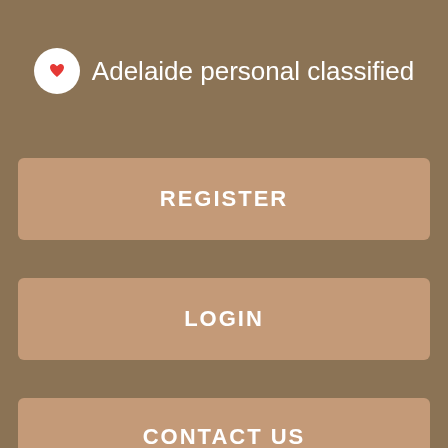Adelaide personal classified
REGISTER
LOGIN
CONTACT US
[Figure (screenshot): Dark square image placeholder in grey background section]
This page appears when online data protection services detect requests coming from your computer network which appear to be in violation of our website's terms of use.
K & A Thai Massage